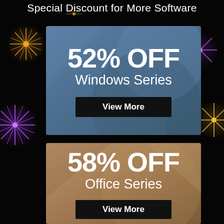Special Discount for More Software
[Figure (infographic): Blue card with '52% OFF Windows Series' text and 'View More' button on decorative blue geometric background with fireworks]
[Figure (infographic): Brown/tan card with '58% OFF Office Series' text and 'View More' button on decorative brown geometric background]